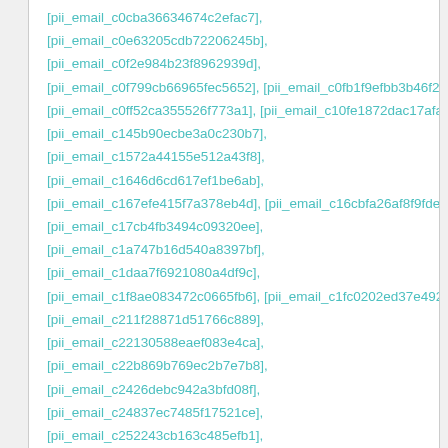[pii_email_c0cba36634674c2efac7],
[pii_email_c0e63205cdb72206245b],
[pii_email_c0f2e984b23f8962939d],
[pii_email_c0f799cb66965fec5652], [pii_email_c0fb1f9efbb3b46f2e4…
[pii_email_c0ff52ca355526f773a1], [pii_email_c10fe1872dac17afa7…
[pii_email_c145b90ecbe3a0c230b7],
[pii_email_c1572a44155e512a43f8],
[pii_email_c1646d6cd617ef1be6ab],
[pii_email_c167efe415f7a378eb4d], [pii_email_c16cbfa26af8f9fde02…
[pii_email_c17cb4fb3494c09320ee],
[pii_email_c1a747b16d540a8397bf],
[pii_email_c1daa7f6921080a4df9c],
[pii_email_c1f8ae083472c0665fb6], [pii_email_c1fc0202ed37e492af…
[pii_email_c211f28871d51766c889],
[pii_email_c22130588eaef083e4ca],
[pii_email_c22b869b769ec2b7e7b8],
[pii_email_c2426debc942a3bfd08f],
[pii_email_c24837ec7485f17521ce],
[pii_email_c252243cb163c485efb1],
[pii_email_c278a700e6c921e3acfa],
[pii_email_c29fc8ccde72d4eb6780],
[pii_email_c2d6fb3cbed00b229e53],
[pii_email_c2dbc96392d55f98bc6d],